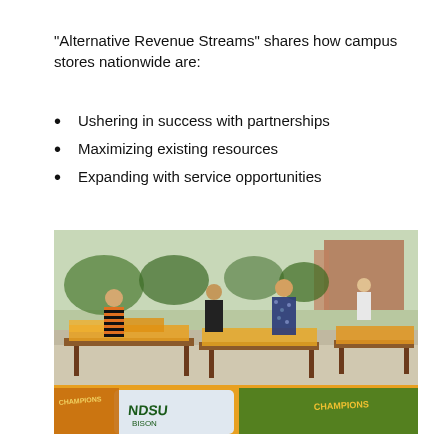“Alternative Revenue Streams” shares how campus stores nationwide are:
Ushering in success with partnerships
Maximizing existing resources
Expanding with service opportunities
[Figure (photo): Outdoor campus market scene with people browsing tables covered in NDSU Bison branded orange and green apparel and merchandise. Several people stand and browse items. Background shows campus buildings and trees.]